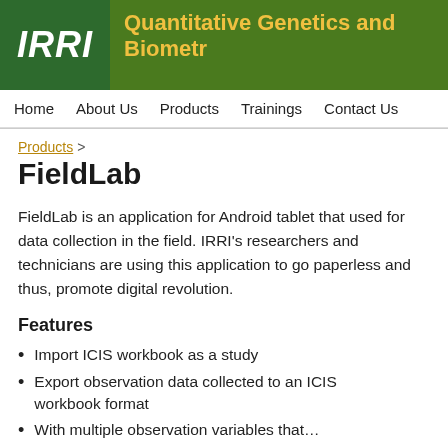Quantitative Genetics and Biometr…
Home   About Us   Products   Trainings   Contact Us
Products >
FieldLab
FieldLab is an application for Android tablet that used for data collection in the field. IRRI's researchers and technicians are using this application to go paperless and thus, promote digital revolution.
Features
Import ICIS workbook as a study
Export observation data collected to an ICIS workbook format
With multiple observation variables that…